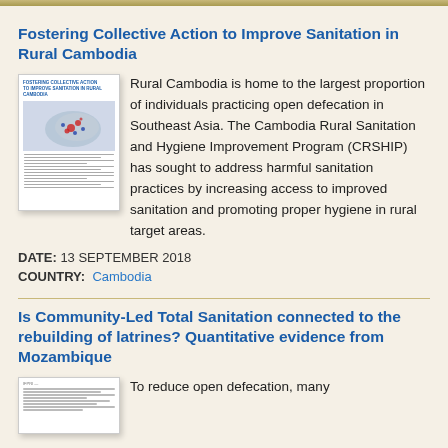Fostering Collective Action to Improve Sanitation in Rural Cambodia
[Figure (illustration): Thumbnail of a document titled 'Fostering Collective Action to Improve Sanitation in Rural Cambodia' showing a map of Cambodia with red and blue markers]
Rural Cambodia is home to the largest proportion of individuals practicing open defecation in Southeast Asia. The Cambodia Rural Sanitation and Hygiene Improvement Program (CRSHIP) has sought to address harmful sanitation practices by increasing access to improved sanitation and promoting proper hygiene in rural target areas.
DATE: 13 SEPTEMBER 2018
COUNTRY:  Cambodia
Is Community-Led Total Sanitation connected to the rebuilding of latrines? Quantitative evidence from Mozambique
[Figure (illustration): Thumbnail of a document about Community-Led Total Sanitation in Mozambique]
To reduce open defecation, many